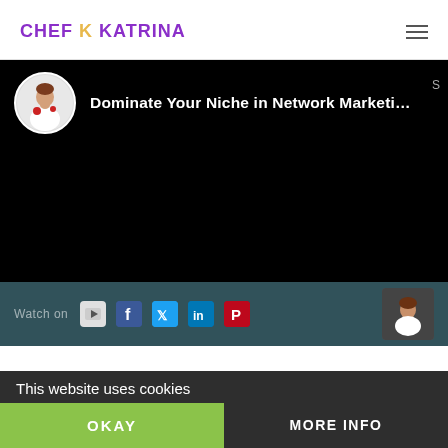CHEF K KATRINA
[Figure (screenshot): Embedded YouTube video player with black background showing title 'Dominate Your Niche in Network Marketi...' and a circular avatar of a woman in a white chef outfit holding red items. Social share bar at bottom with YouTube, Facebook, Twitter, LinkedIn, Pinterest icons, and 'Watch on' text.]
This website uses cookies
OKAY
MORE INFO